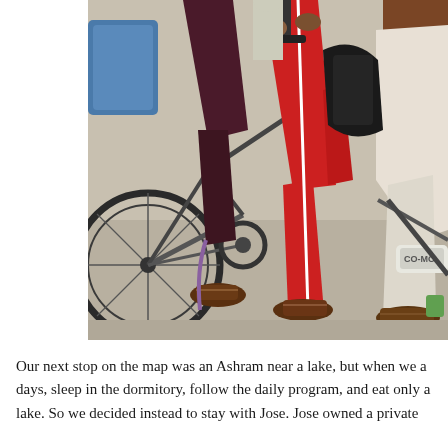[Figure (photo): Close-up photograph of people riding bicycles, showing legs and lower bodies. One person wears dark maroon pants, another wears bright red pants, and another wears white pants. They are riding what appears to be a tandem or cargo bicycle on a paved surface. Sandals and shoes are visible on the pedals.]
Our next stop on the map was an Ashram near a lake, but when we a days, sleep in the dormitory, follow the daily program, and eat only a lake. So we decided instead to stay with Jose. Jose owned a private